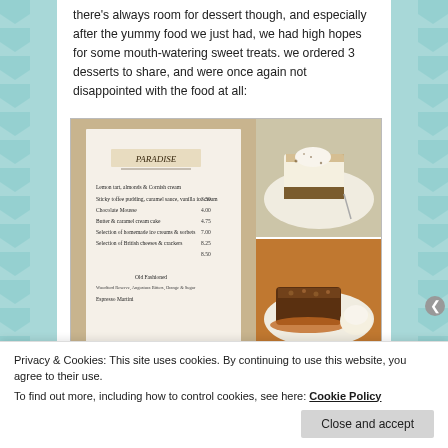there's always room for dessert though, and especially after the yummy food we just had, we had high hopes for some mouth-watering sweet treats. we ordered 3 desserts to share, and were once again not disappointed with the food at all:
[Figure (photo): Collage of three photos: left shows a Paradise restaurant dessert menu, top right shows a slice of cheesecake with cocoa dust on a white plate, bottom right shows a sticky toffee pudding with caramel sauce and ice cream on a white plate.]
Privacy & Cookies: This site uses cookies. By continuing to use this website, you agree to their use.
To find out more, including how to control cookies, see here: Cookie Policy
Close and accept